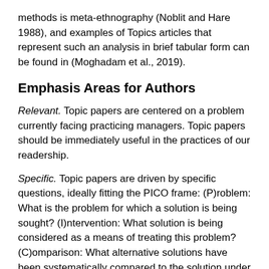methods is meta-ethnography (Noblit and Hare 1988), and examples of Topics articles that represent such an analysis in brief tabular form can be found in (Moghadam et al., 2019).
Emphasis Areas for Authors
Relevant. Topic papers are centered on a problem currently facing practicing managers. Topic papers should be immediately useful in the practices of our readership.
Specific. Topic papers are driven by specific questions, ideally fitting the PICO frame: (P)roblem: What is the problem for which a solution is being sought? (I)ntervention: What solution is being considered as a means of treating this problem? (C)omparison: What alternative solutions have been systematically compared to the solution under consideration? (O)utcome: What are the known outcomes of the solution under consideration? Unlike more general forms of research questions, Topics articles questions are often Yes/No questions, e.g., Will two-factor authentication (I)